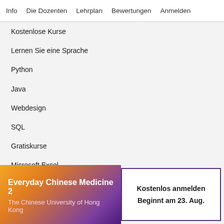Info   Die Dozenten   Lehrplan   Bewertungen   Anmelden
Kostenlose Kurse
Lernen Sie eine Sprache
Python
Java
Webdesign
SQL
Gratiskurse
Microsoft Excel
Projektmanagement
Cybersicherheit
Personalwesen
Everyday Chinese Medicine 2
The Chinese University of Hong Kong
Kostenlos anmelden
Beginnt am 23. Aug.